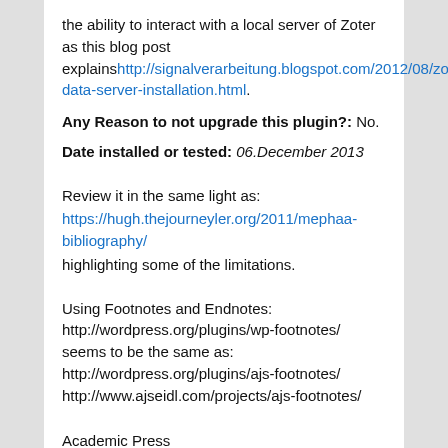the ability to interact with a local server of Zoter as this blog post explains http://signalverarbeitung.blogspot.com/2012/08/zotero-data-server-installation.html.
Any Reason to not upgrade this plugin?: No.
Date installed or tested: 06.December 2013
Review it in the same light as:
https://hugh.thejourneyler.org/2011/mephaa-bibliography/
highlighting some of the limitations.
Using Footnotes and Endnotes:
http://wordpress.org/plugins/wp-footnotes/
seems to be the same as:
http://wordpress.org/plugins/ajs-footnotes/
http://www.ajseidl.com/projects/ajs-footnotes/
Academic Press
AcademicPress
http://wordpress.org/plugins/academicpress/